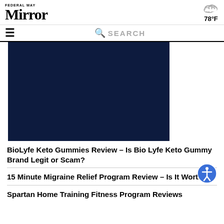FEDERAL WAY MIRROR
78°F
[Figure (screenshot): Navigation bar with hamburger menu and search field]
[Figure (photo): Dark navy blue image placeholder]
BioLyfe Keto Gummies Review – Is Bio Lyfe Keto Gummy Brand Legit or Scam?
15 Minute Migraine Relief Program Review – Is It Worth It?
Spartan Home Training Fitness Program Reviews